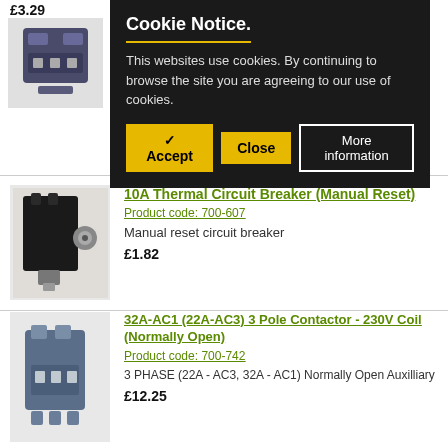£3.39
[Figure (photo): Small electrical contactor/relay component]
Auxilliary
£8.69
[Figure (screenshot): Cookie notice overlay with black background: title 'Cookie Notice.', text 'This websites use cookies. By continuing to browse the site you are agreeing to our use of cookies.', buttons: Accept, Close, More information]
[Figure (photo): Thermal circuit breaker - black rectangular component with metal terminal]
10A Thermal Circuit Breaker (Manual Reset)
Product code: 700-607
Manual reset circuit breaker
£1.82
[Figure (photo): Small contactor/relay component, blue-grey colored]
32A-AC1 (22A-AC3) 3 Pole Contactor - 230V Coil (Normally Open)
Product code: 700-742
3 PHASE (22A - AC3, 32A - AC1) Normally Open Auxilliary
£12.25